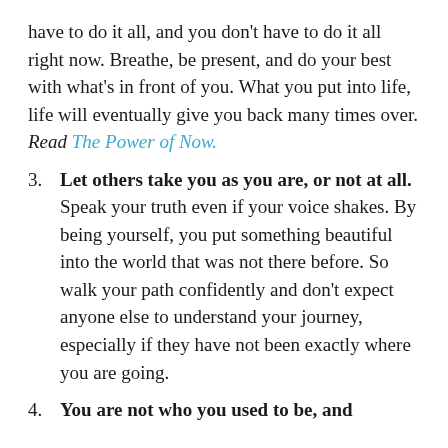have to do it all, and you don't have to do it all right now. Breathe, be present, and do your best with what's in front of you. What you put into life, life will eventually give you back many times over. Read The Power of Now.
3. Let others take you as you are, or not at all. Speak your truth even if your voice shakes. By being yourself, you put something beautiful into the world that was not there before. So walk your path confidently and don't expect anyone else to understand your journey, especially if they have not been exactly where you are going.
4. You are not who you used to be, and